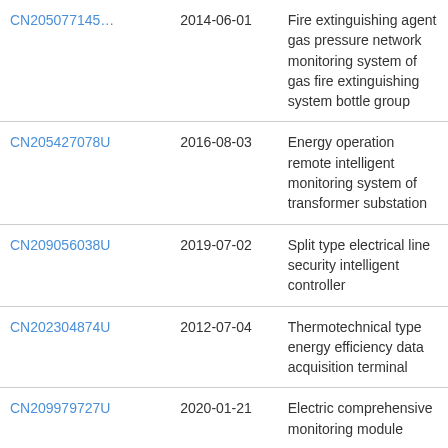| CN205077145 (truncated) | 2014-06-01 (partial) | Fire extinguishing agent gas pressure network monitoring system of gas fire extinguishing system bottle group |
| CN205427078U | 2016-08-03 | Energy operation remote intelligent monitoring system of transformer substation |
| CN209056038U | 2019-07-02 | Split type electrical line security intelligent controller |
| CN202304874U | 2012-07-04 | Thermotechnical type energy efficiency data acquisition terminal |
| CN209979727U | 2020-01-21 | Electric comprehensive monitoring module |
| CN208580170U | 2019-03-05 | DTU power failure alarm device |
| CN109377707A | 2019-02-22 | Split type electrical line security intelligent controller |